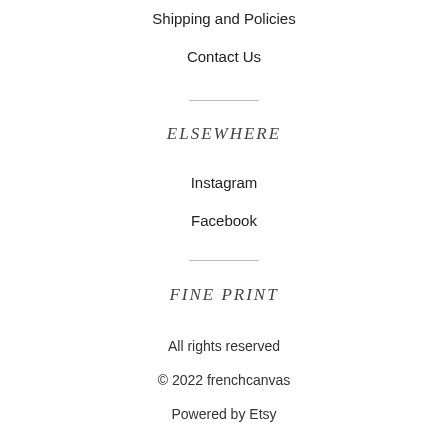Shipping and Policies
Contact Us
ELSEWHERE
Instagram
Facebook
FINE PRINT
All rights reserved
© 2022 frenchcanvas
Powered by Etsy